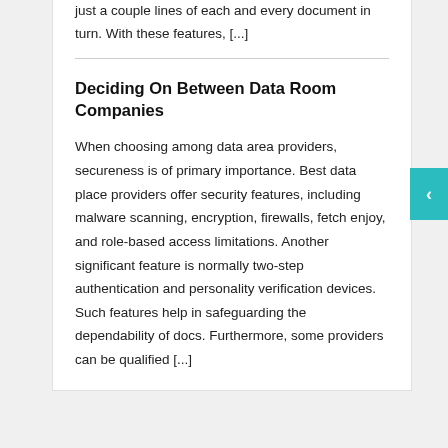just a couple lines of each and every document in turn. With these features, [...]
Deciding On Between Data Room Companies
When choosing among data area providers, secureness is of primary importance. Best data place providers offer security features, including malware scanning, encryption, firewalls, fetch enjoy, and role-based access limitations. Another significant feature is normally two-step authentication and personality verification devices. Such features help in safeguarding the dependability of docs. Furthermore, some providers can be qualified [...]